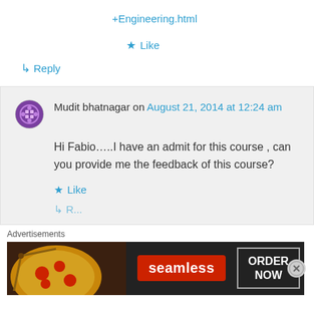+Engineering.html
★ Like
↳ Reply
Mudit bhatnagar on August 21, 2014 at 12:24 am
Hi Fabio…..I have an admit for this course , can you provide me the feedback of this course?
★ Like
Advertisements
[Figure (screenshot): Seamless food delivery ad banner with pizza image, seamless logo in red, and ORDER NOW button]